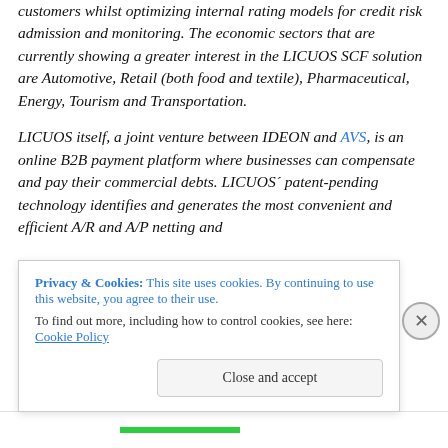customers whilst optimizing internal rating models for credit risk admission and monitoring. The economic sectors that are currently showing a greater interest in the LICUOS SCF solution are Automotive, Retail (both food and textile), Pharmaceutical, Energy, Tourism and Transportation.
LICUOS itself, a joint venture between IDEON and AVS, is an online B2B payment platform where businesses can compensate and pay their commercial debts. LICUOS´ patent-pending technology identifies and generates the most convenient and efficient A/R and A/P netting and
Privacy & Cookies: This site uses cookies. By continuing to use this website, you agree to their use.
To find out more, including how to control cookies, see here: Cookie Policy
Close and accept